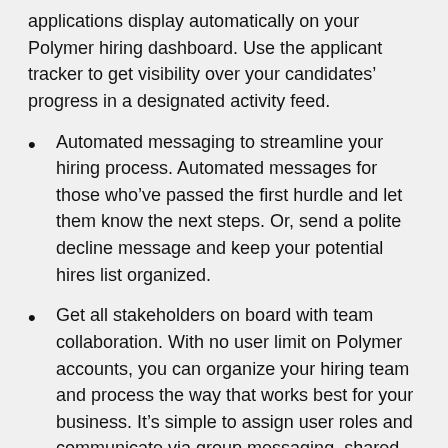applications display automatically on your Polymer hiring dashboard. Use the applicant tracker to get visibility over your candidates’ progress in a designated activity feed.
Automated messaging to streamline your hiring process. Automated messages for those who’ve passed the first hurdle and let them know the next steps. Or, send a polite decline message and keep your potential hires list organized.
Get all stakeholders on board with team collaboration. With no user limit on Polymer accounts, you can organize your hiring team and process the way that works best for your business. It’s simple to assign user roles and communicate via group messaging, shared comments, and candidate reviews.